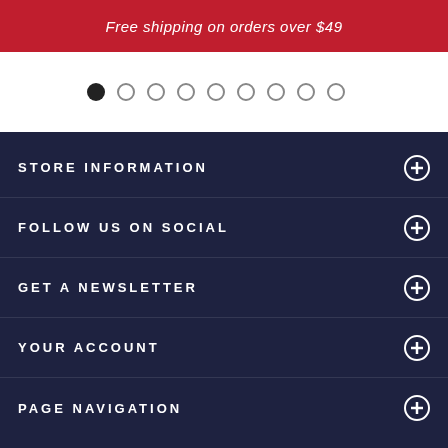Free shipping on orders over $49
[Figure (other): Carousel dot navigation with 9 dots, first dot filled black, rest empty circles]
STORE INFORMATION
FOLLOW US ON SOCIAL
GET A NEWSLETTER
YOUR ACCOUNT
PAGE NAVIGATION